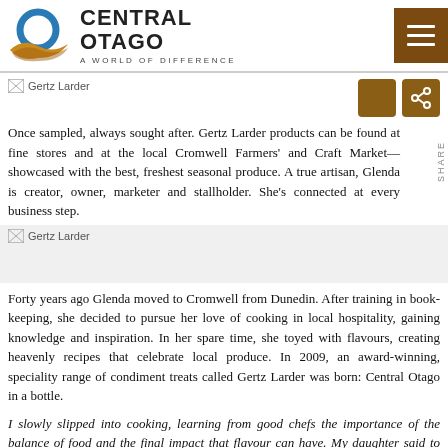[Figure (logo): Central Otago logo with blue circular icon, brown bird/wing motif, text CENTRAL OTAGO A WORLD OF DIFFERENCE]
[Figure (photo): Gertz Larder image placeholder]
[Figure (other): Share icons: brown square and brown share button]
Once sampled, always sought after. Gertz Larder products can be found at fine stores and at the local Cromwell Farmers' and Craft Market—showcased with the best, freshest seasonal produce. A true artisan, Glenda is creator, owner, marketer and stallholder. She's connected at every business step.
[Figure (photo): Gertz Larder second image placeholder, shown over gray background]
Forty years ago Glenda moved to Cromwell from Dunedin. After training in book-keeping, she decided to pursue her love of cooking in local hospitality, gaining knowledge and inspiration. In her spare time, she toyed with flavours, creating heavenly recipes that celebrate local produce. In 2009, an award-winning, speciality range of condiment treats called Gertz Larder was born: Central Otago in a bottle.
I slowly slipped into cooking, learning from good chefs the importance of the balance of food and the final impact that flavour can have. My daughter said to me “Mum, why don’t you go to the Cromwell market?” My first thought was “Who is going to want to eat my food?” My early products were lemon curd, aioli and infused olives. On the first day I sold $45 worth of product before the market